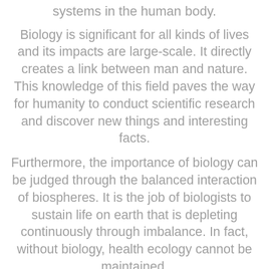systems in the human body.
Biology is significant for all kinds of lives and its impacts are large-scale. It directly creates a link between man and nature. This knowledge of this field paves the way for humanity to conduct scientific research and discover new things and interesting facts.
Furthermore, the importance of biology can be judged through the balanced interaction of biospheres. It is the job of biologists to sustain life on earth that is depleting continuously through imbalance. In fact, without biology, health ecology cannot be maintained.
Therefore, it is very important for us to learn about biology to better understand our body and other living organisms on the earth.
Once you start studying this field, its versatility